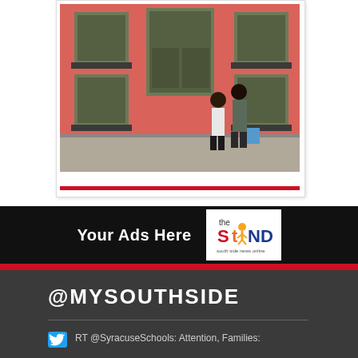[Figure (photo): Street photo showing two people walking on a sidewalk in front of a red brick building with green door and windows]
[Figure (logo): Ad banner: 'Your Ads Here' with The STAND south side news online logo]
@MYSOUTHSIDE
RT @SyracuseSchools: Attention, Families: